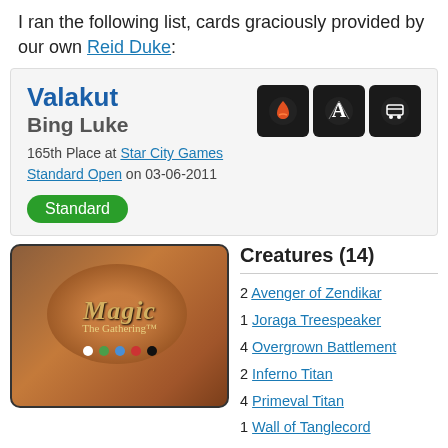I ran the following list, cards graciously provided by our own Reid Duke:
Valakut
Bing Luke
165th Place at Star City Games Standard Open on 03-06-2011
Standard
[Figure (illustration): Magic: The Gathering card back image showing the classic MTG card back design with orange/brown oval and colored mana dots]
Creatures (14)
2 Avenger of Zendikar
1 Joraga Treespeaker
4 Overgrown Battlement
2 Inferno Titan
4 Primeval Titan
1 Wall of Tanglecord
Lands (28)